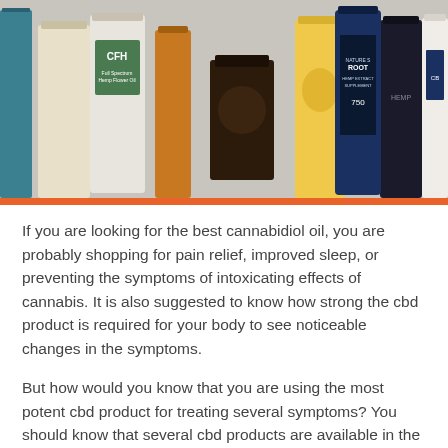[Figure (photo): A row of various CBD oil bottles and tincture products on a white surface, including CFH Full Spectrum Hemp Flower Oil, Nature's Root Hemp Extract Supplement, and other CBD branded bottles. An orange bar separates the photo from the text below.]
If you are looking for the best cannabidiol oil, you are probably shopping for pain relief, improved sleep, or preventing the symptoms of intoxicating effects of cannabis. It is also suggested to know how strong the cbd product is required for your body to see noticeable changes in the symptoms.
But how would you know that you are using the most potent cbd product for treating several symptoms? You should know that several cbd products are available in the market, whether isolated, full-spectrum, or broad-spectrum; each product delivers different potencies. And there is no such definition that proves the cbd product is